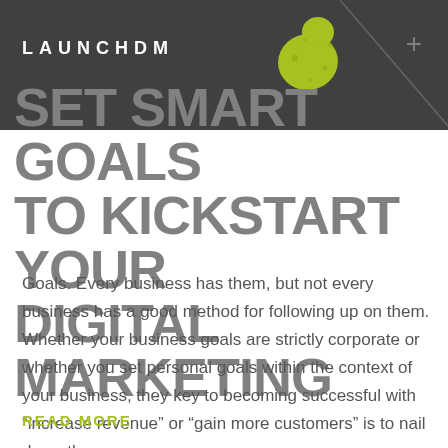LAUNCHDM
SET SMART GOALS TO KICKSTART YOUR DIGITAL MARKETING
Goals. Every business has them, but not every business has a good method for following up on them. Whether your business goals are strictly corporate or whether you set personal goals within the context of your business, they key to becoming successful with “increase revenue” or “gain more customers” is to nail down the process…
READ MORE